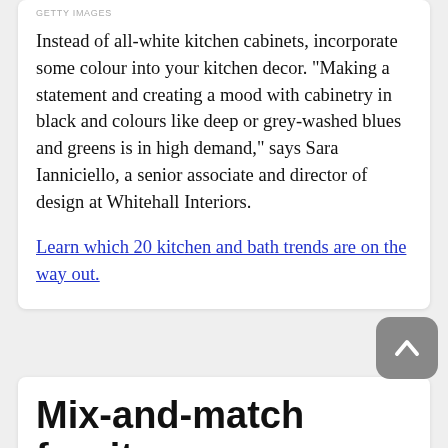GETTY IMAGES
Instead of all-white kitchen cabinets, incorporate some colour into your kitchen decor. "Making a statement and creating a mood with cabinetry in black and colours like deep or grey-washed blues and greens is in high demand," says Sara Ianniciello, a senior associate and director of design at Whitehall Interiors.
Learn which 20 kitchen and bath trends are on the way out.
Mix-and-match furniture
[Figure (photo): Bottom image strip showing partial interior/furniture photos]